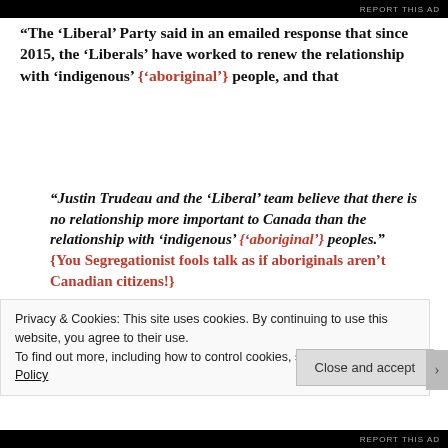REPORT THIS AD
“The ‘Liberal’ Party said in an emailed response that since 2015, the ‘Liberals’ have worked to renew the relationship with ‘indigenous’ {‘aboriginal’} people, and that
“Justin Trudeau and the ‘Liberal’ team believe that there is no relationship more important to Canada than the relationship with ‘indigenous’ {‘aboriginal’} peoples.” {You Segregationist fools talk as if aboriginals aren’t Canadian citizens!}
Privacy & Cookies: This site uses cookies. By continuing to use this website, you agree to their use.
To find out more, including how to control cookies, see here: Cookie Policy
Close and accept
REPORT THIS AD